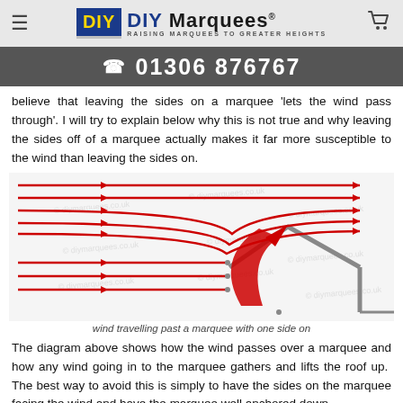DIY Marquees — RAISING MARQUEES TO GREATER HEIGHTS
01306 876767
believe that leaving the sides on a marquee 'lets the wind pass through'. I will try to explain below why this is not true and why leaving the sides off of a marquee actually makes it far more susceptible to the wind than leaving the sides on.
[Figure (illustration): Diagram showing wind streamlines (red horizontal arrows) travelling past a marquee with one side on. The wind lines above the marquee arch over its peaked roof, and a large red curved arrow inside the marquee base shows air being funnelled upward under the roof, with small dots indicating ground-level stagnation points. The marquee structure is shown in grey at the right side of the diagram.]
wind travelling past a marquee with one side on
The diagram above shows how the wind passes over a marquee and how any wind going in to the marquee gathers and lifts the roof up.  The best way to avoid this is simply to have the sides on the marquee facing the wind and have the marquee well anchored down.